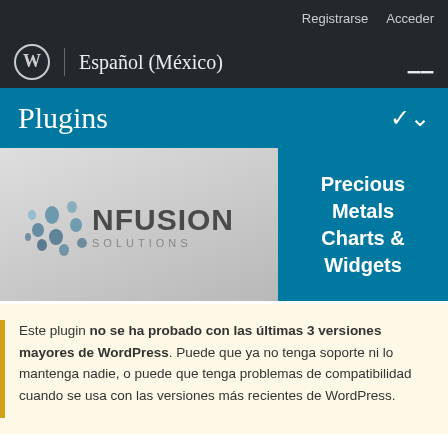Registrarse   Acceder
Español (México)
Plugins
[Figure (logo): NFusion Solutions logo with dot-pattern sphere and text 'NFUSION SOLUTIONS']
Precious Metals Charts & Widgets
Este plugin no se ha probado con las últimas 3 versiones mayores de WordPress. Puede que ya no tenga soporte ni lo mantenga nadie, o puede que tenga problemas de compatibilidad cuando se usa con las versiones más recientes de WordPress.